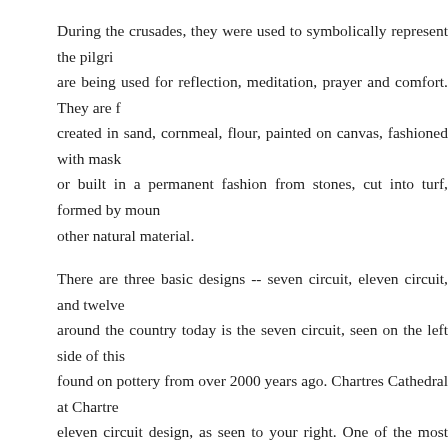During the crusades, they were used to symbolically represent the pilgri... are being used for reflection, meditation, prayer and comfort. They are f... created in sand, cornmeal, flour, painted on canvas, fashioned with mask... or built in a permanent fashion from stones, cut into turf, formed by moun... other natural material.
There are three basic designs -- seven circuit, eleven circuit, and twelve... around the country today is the seven circuit, seen on the left side of this... found on pottery from over 2000 years ago. Chartres Cathedral at Chatre... eleven circuit design, as seen to your right. One of the most famous as... spectacular rose window over the great west doors. It has the same dime... same distance up the west wall as the labyrinth is laterally from the cath... An imaginary cosmic hinge located where the doors and floor intersect... directly on top of the labyrinth, thus the sparkling, colored light of the win... pilgrimage are combined.
Another more recent examples can be found at Grace Cathedral in San... Church in Torrence, California. The eleven circuit, or Maltese design, oct... Cathedral in France. The size of the design can range from a small design...
Many people make the mistake of thinking a labyrinth and a maze are the...